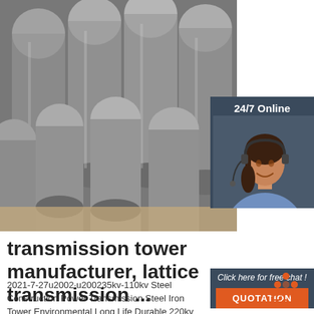[Figure (photo): Bundle of round steel rods/bars viewed from end, gray metallic color, stacked together]
[Figure (photo): 24/7 Online customer service agent - smiling woman with headset on dark blue background]
24/7 Online
Click here for free chat !
QUOTATION
transmission tower manufacturer, lattice transmission ...
2021-7-27u2002·u200235kv-110kv Steel Construction Power Transmission Steel Iron Tower Environmental Long Life Durable 220kv Steel Transmission Line Tower Electric
[Figure (logo): TOP logo with orange triangle/arrow pattern above text]